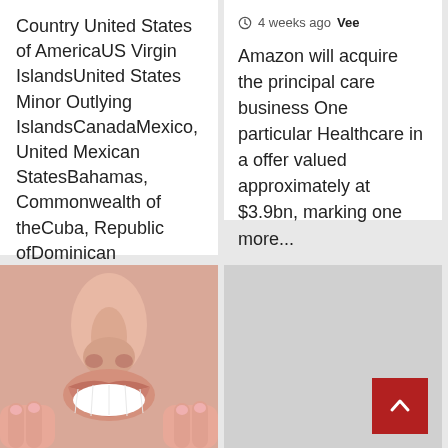Country United States of AmericaUS Virgin IslandsUnited States Minor Outlying IslandsCanadaMexico, United Mexican StatesBahamas, Commonwealth of theCuba, Republic ofDominican RepublicHaiti,...
4 weeks ago  Vee
Amazon will acquire the principal care business One particular Healthcare in a offer valued approximately at $3.9bn, marking one more...
[Figure (photo): Close-up photo of a woman smiling showing white teeth, with pink-painted fingernails visible at sides of face]
[Figure (other): Grey placeholder card with a red back-to-top button (arrow pointing up) in the bottom right corner]